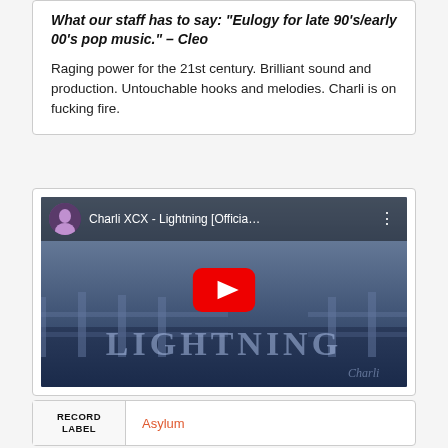What our staff has to say: "Eulogy for late 90s/early 00's pop music." – Cleo
Raging power for the 21st century. Brilliant sound and production. Untouchable hooks and melodies. Charli is on fucking fire.
[Figure (screenshot): YouTube video thumbnail for 'Charli XCX - Lightning [Officia...' showing a woman standing in front of a scenic background with 'LIGHTNING' text overlay and a red YouTube play button in the center.]
| RECORD LABEL |  |
| --- | --- |
|  | Asylum |